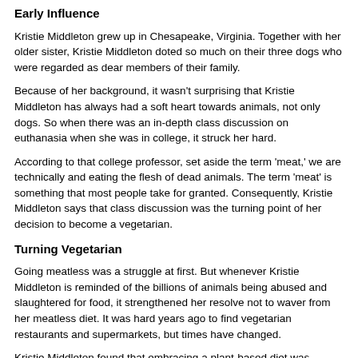Early Influence
Kristie Middleton grew up in Chesapeake, Virginia. Together with her older sister, Kristie Middleton doted so much on their three dogs who were regarded as dear members of their family.
Because of her background, it wasn't surprising that Kristie Middleton has always had a soft heart towards animals, not only dogs. So when there was an in-depth class discussion on euthanasia when she was in college, it struck her hard.
According to that college professor, set aside the term 'meat,' we are technically and eating the flesh of dead animals. The term 'meat' is something that most people take for granted. Consequently, Kristie Middleton says that class discussion was the turning point of her decision to become a vegetarian.
Turning Vegetarian
Going meatless was a struggle at first. But whenever Kristie Middleton is reminded of the billions of animals being abused and slaughtered for food, it strengthened her resolve not to waver from her meatless diet. It was hard years ago to find vegetarian restaurants and supermarkets, but times have changed.
Kristie Middleton found that embracing a plant-based diet was initially difficult. But seeing there were more benefits than disadvantages, she persevered. She eventually took her advocacy a notch higher by gradually becoming a